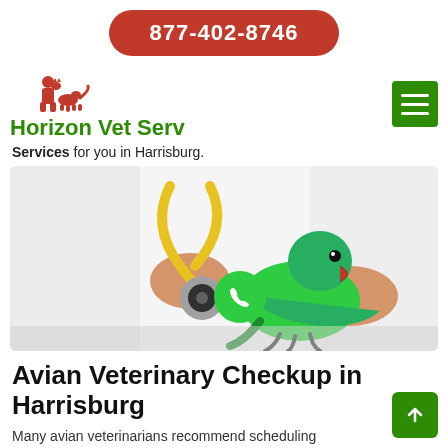877-402-8746
Horizon Vet Serv
Services for you in Harrisburg.
[Figure (photo): Green parrot being examined with a stethoscope by a veterinarian in a white coat. A green phone call button overlay is visible.]
Avian Veterinary Checkup in Harrisburg
Many avian veterinarians recommend scheduling